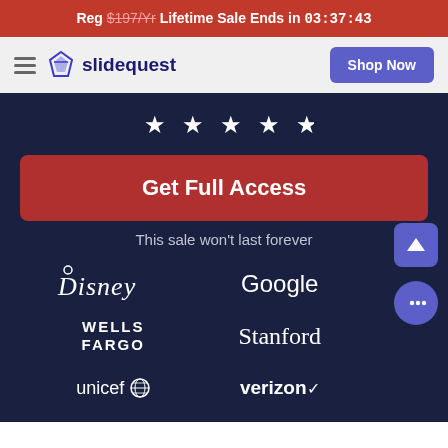Reg $197/Yr Lifetime Sale Ends in 03:37:43
[Figure (logo): Slidequest logo with hamburger menu and Shop Now button in navigation bar]
[Figure (infographic): Five white star rating icons]
Get Full Access
This sale won't last forever
[Figure (logo): Disney logo in white]
[Figure (logo): Google logo in white]
[Figure (logo): Wells Fargo logo in white]
[Figure (logo): Stanford logo in white]
[Figure (logo): unicef logo in white]
[Figure (logo): verizon logo in white]